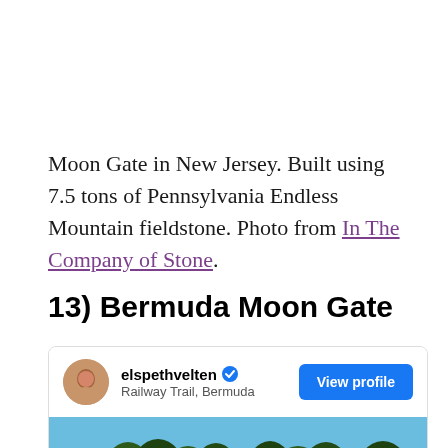Moon Gate in New Jersey. Built using 7.5 tons of Pennsylvania Endless Mountain fieldstone. Photo from In The Company of Stone.
13) Bermuda Moon Gate
[Figure (screenshot): Instagram-style profile card for user elspethvelten, located at Railway Trail, Bermuda, with a View profile button and a photo showing green trees against a blue sky.]